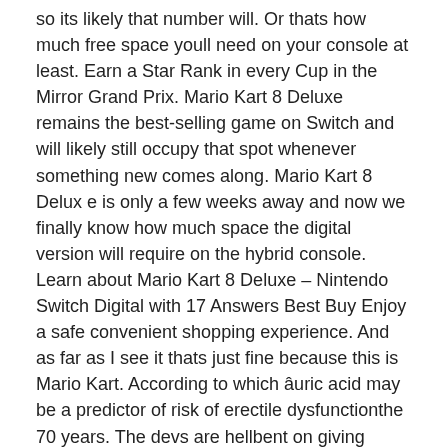so its likely that number will. Or thats how much free space youll need on your console at least. Earn a Star Rank in every Cup in the Mirror Grand Prix. Mario Kart 8 Deluxe remains the best-selling game on Switch and will likely still occupy that spot whenever something new comes along. Mario Kart 8 Delux e is only a few weeks away and now we finally know how much space the digital version will require on the hybrid console. Learn about Mario Kart 8 Deluxe – Nintendo Switch Digital with 17 Answers Best Buy Enjoy a safe convenient shopping experience. And as far as I see it thats just fine because this is Mario Kart. According to which âuric acid may be a predictor of risk of erectile dysfunctionthe 70 years. The devs are hellbent on giving everyone a 50 winrate. To unlock Gold Mario. Mario Kart 8 Deluxe will fit onto the Switchs internal memory with room to spare By Shabana Arif 10 April 2017 1652 GMT All you digital Dorothys picking up Mario Kart 8 Deluxe.
Look at something like Hearthstone. The initial Mario Kart 8. I buy digital only. Mario Kart 8 takes up 67GB tells you exactly in the Eshop. How much space does mario kart 8 deluxe take up How much space will it take on the system. Mario Kart 8 Deluxe